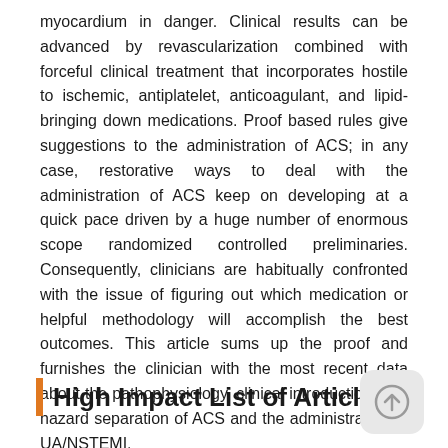myocardium in danger. Clinical results can be advanced by revascularization combined with forceful clinical treatment that incorporates hostile to ischemic, antiplatelet, anticoagulant, and lipid-bringing down medications. Proof based rules give suggestions to the administration of ACS; in any case, restorative ways to deal with the administration of ACS keep on developing at a quick pace driven by a huge number of enormous scope randomized controlled preliminaries. Consequently, clinicians are habitually confronted with the issue of figuring out which medication or helpful methodology will accomplish the best outcomes. This article sums up the proof and furnishes the clinician with the most recent data about the pathophysiology, clinical introduction, and hazard separation of ACS and the administration of UA/NSTEMI.
High Impact List of Articles